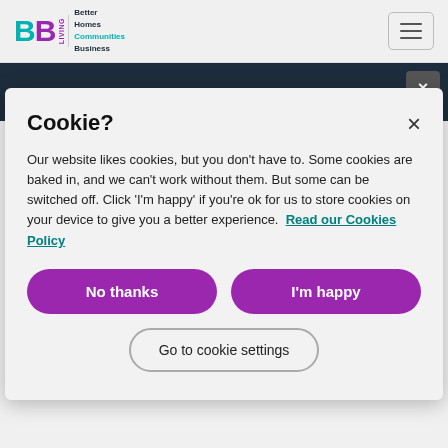[Figure (logo): BB Living logo with teal and purple colors, Better Homes Communities Business text]
[Figure (other): Hamburger menu button (three horizontal lines) in top right corner]
[Figure (other): Dark navy banner with X close button and partially visible text]
Cookie?
Our website likes cookies, but you don't have to. Some cookies are baked in, and we can't work without them. But some can be switched off. Click 'I'm happy' if you're ok for us to store cookies on your device to give you a better experience. Read our Cookies Policy
No thanks
I'm happy
Go to cookie settings